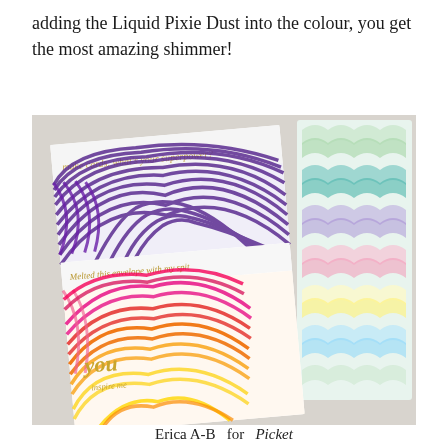adding the Liquid Pixie Dust into the colour, you get the most amazing shimmer!
[Figure (photo): Photo of handmade cards with rainbow-striped arc patterns stamped in purple, pink/red/orange/yellow gradient, with gold foil stamped sentiments reading 'make cards. what's your superpower?' and 'Melted this envelope with my spit' and 'you inspire me'. On the right side, pastel blue and green scalloped pattern card in background.]
Erica A-B  for  Picket [Fence Studios logo]